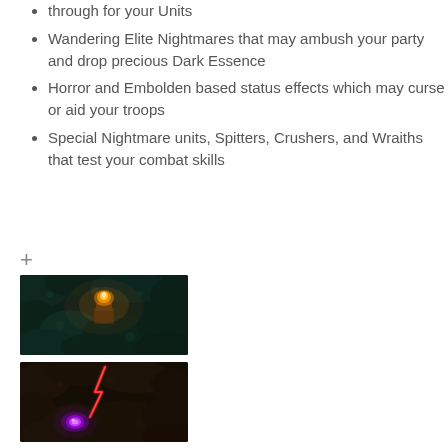through for your Units
Wandering Elite Nightmares that may ambush your party and drop precious Dark Essence
Horror and Embolden based status effects which may curse or aid your troops
Special Nightmare units, Spitters, Crushers, and Wraiths that test your combat skills
+
[Figure (photo): Dark fantasy game screenshot showing a dungeon or cave environment with a glowing orange fire or torch at the center, surrounded by dark teal/green textures and terrain.]
[Figure (photo): Dark fantasy game screenshot showing a dungeon environment with a red lightning bolt or magical attack and a glowing purple gem or orb, set against dark brown and black terrain.]